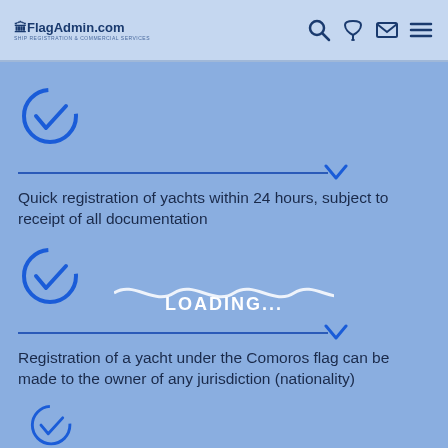FlagAdmin.com - Ship Registration & Commercial Services
[Figure (illustration): Blue circular checkmark icon with a down-pointing chevron/arrow below a horizontal divider line]
Quick registration of yachts within 24 hours, subject to receipt of all documentation
[Figure (illustration): Blue circular checkmark icon with a down-pointing chevron/arrow below a horizontal divider line]
Registration of a yacht under the Comoros flag can be made to the owner of any jurisdiction (nationality)
[Figure (illustration): Blue circular checkmark icon (partially visible at bottom)]